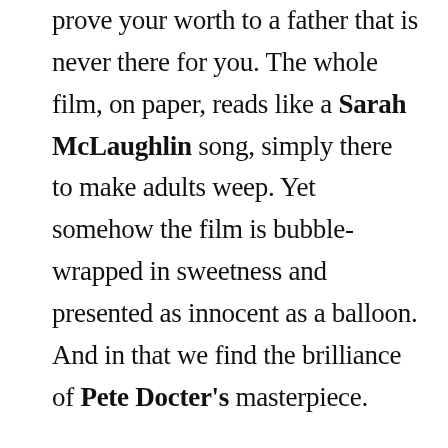prove your worth to a father that is never there for you. The whole film, on paper, reads like a Sarah McLaughlin song, simply there to make adults weep. Yet somehow the film is bubble-wrapped in sweetness and presented as innocent as a balloon. And in that we find the brilliance of Pete Docter's masterpiece.

Now a decade old, Up holds the distinction of being only one of three animated features to have been nominated for Best Picture at the Academy Awards (Beauty and the Beast and Toy Story 3 being the other two).